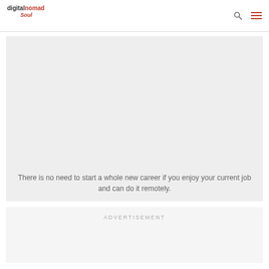digital nomad soul
[Figure (other): Gray placeholder image box with quote text overlay at bottom reading: There is no need to start a whole new career if you enjoy your current job and can do it remotely.]
There is no need to start a whole new career if you enjoy your current job and can do it remotely.
ADVERTISEMENT